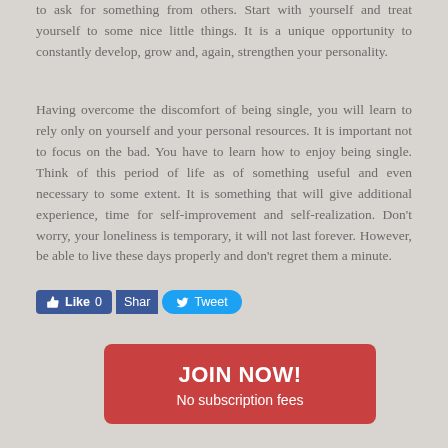to ask for something from others. Start with yourself and treat yourself to some nice little things. It is a unique opportunity to constantly develop, grow and, again, strengthen your personality.
Having overcome the discomfort of being single, you will learn to rely only on yourself and your personal resources. It is important not to focus on the bad. You have to learn how to enjoy being single. Think of this period of life as of something useful and even necessary to some extent. It is something that will give additional experience, time for self-improvement and self-realization. Don’t worry, your loneliness is temporary, it will not last forever. However, be able to live these days properly and don’t regret them a minute.
[Figure (other): Social sharing buttons: Facebook Like (0), Facebook Share, Twitter Tweet]
JOIN NOW!
No subscription fees